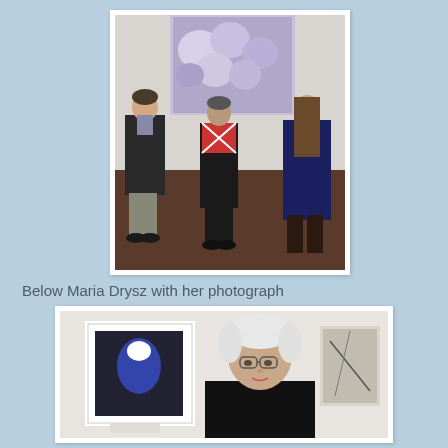[Figure (photo): Three people standing in front of a large floral painting in an art gallery. A man in a dark jacket on the left, a woman in a patterned outfit in the center, and a woman in a blue dress on the right.]
Below Maria Drysz with her photograph
[Figure (photo): Maria Drysz, an older woman with short white hair and glasses, standing next to her framed photograph displayed on a white gallery wall.]